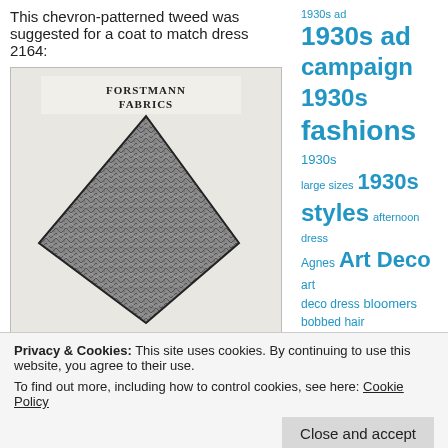This chevron-patterned tweed was suggested for a coat to match dress 2164:
[Figure (photo): A chevron-patterned tweed fabric swatch shown as a diamond/triangular shape with 'FORSTMANN FABRICS' text printed above it on a light background.]
1930s ad campaign
1930s fashions
1930s large sizes
1930s styles
afternoon dress
Agnes
Art Deco
art deco dress
bloomers
bobbed hair
Butterick
Butterick's Delineator magazine
Butterick Fashion News
Butterick patterns
butterick
Privacy & Cookies: This site uses cookies. By continuing to use this website, you agree to their use.
To find out more, including how to control cookies, see here: Cookie Policy
Close and accept